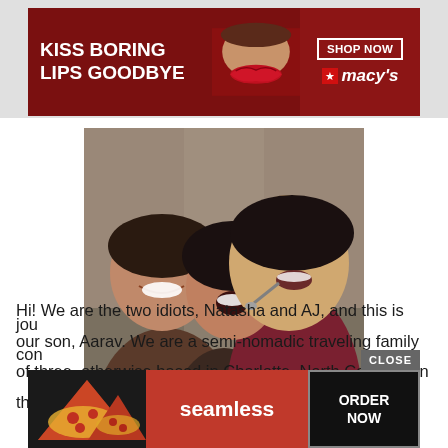[Figure (photo): Macy's advertisement banner with text 'KISS BORING LIPS GOODBYE', red lips image, 'SHOP NOW' button, and Macy's star logo]
[Figure (photo): Family selfie photo showing three people: a man (AJ), a woman (Natasha), and a young boy (Aarav) outdoors. The boy is holding a green water bottle.]
Hi! We are the two idiots, Natasha and AJ, and this is our son, Aarav. We are a semi-nomadic traveling family of three, otherwise based in Charlotte, North Carolina. In the summer of 2017, we embarked on an incredible journey... con...
[Figure (photo): Seamless food delivery advertisement banner showing pizza image, Seamless logo in red, and 'ORDER NOW' button]
CLOSE